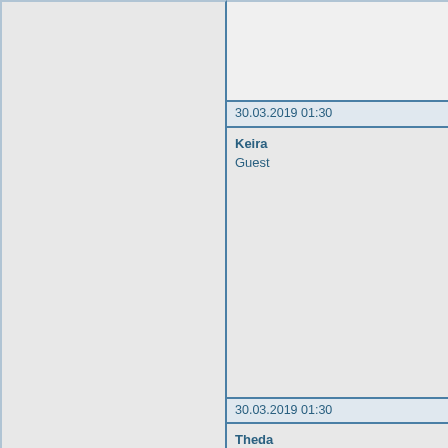| Timestamp | User / Role |
| --- | --- |
| 30.03.2019 01:30 | Keira
Guest |
| 30.03.2019 01:30 | Theda
Guest |
| 30.03.2019 01:33 | Katia
Guest |
| 30.03.2019 01:33 |  |